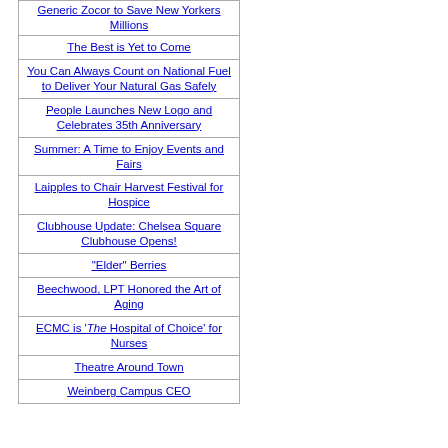Generic Zocor to Save New Yorkers Millions
The Best is Yet to Come
You Can Always Count on National Fuel to Deliver Your Natural Gas Safely
People Launches New Logo and Celebrates 35th Anniversary
Summer: A Time to Enjoy Events and Fairs
Laipples to Chair Harvest Festival for Hospice
Clubhouse Update: Chelsea Square Clubhouse Opens!
"Elder" Berries
Beechwood, LPT Honored the Art of Aging
ECMC is 'The Hospital of Choice' for Nurses
Theatre Around Town
Weinberg Campus CEO